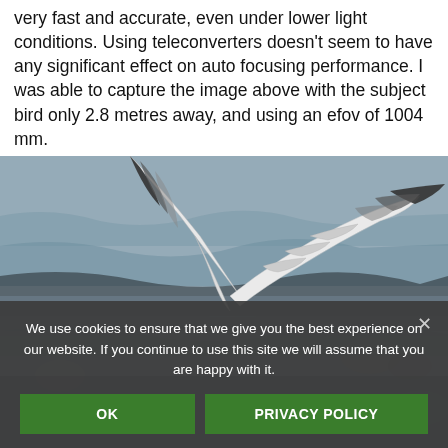very fast and accurate, even under lower light conditions. Using teleconverters doesn't seem to have any significant effect on auto focusing performance. I was able to capture the image above with the subject bird only 2.8 metres away, and using an efov of 1004 mm.
[Figure (photo): A seagull with wings spread wide, photographed close-up over water with other birds in the background. Black and white wing tips visible.]
We use cookies to ensure that we give you the best experience on our website. If you continue to use this site we will assume that you are happy with it.